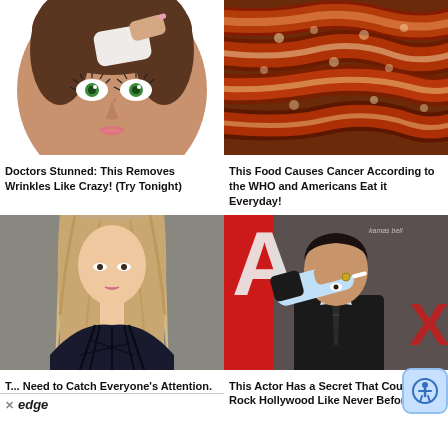[Figure (illustration): Cartoon illustration of a woman's face with green eyes and freckles, someone applying a white substance to her forehead]
Doctors Stunned: This Removes Wrinkles Like Crazy! (Try Tonight)
[Figure (photo): Close-up photo of cooked bacon strips with crispy texture]
This Food Causes Cancer According to the WHO and Americans Eat it Everyday!
[Figure (photo): Photo of a young woman with long blonde hair wearing a dark lace-up top]
T... Need to Catch Everyone's Attention.
[Figure (photo): Photo of an actor covering his face with his arm at what appears to be a red carpet event, with partial 'A' letter signage visible]
This Actor Has a Secret That Could Rock Hollywood Like Never Before!